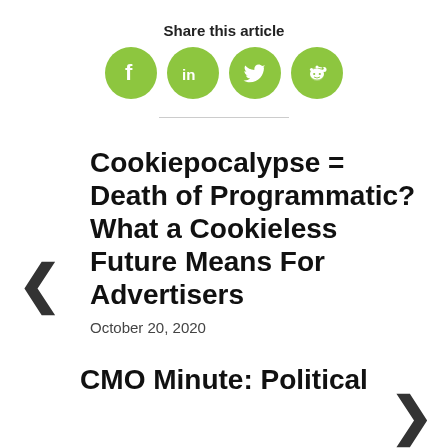Share this article
[Figure (infographic): Four green circular social media share icons: Facebook (f), LinkedIn (in), Twitter (bird), Reddit (alien face)]
Cookiepocalypse = Death of Programmatic? What a Cookieless Future Means For Advertisers
October 20, 2020
CMO Minute: Political